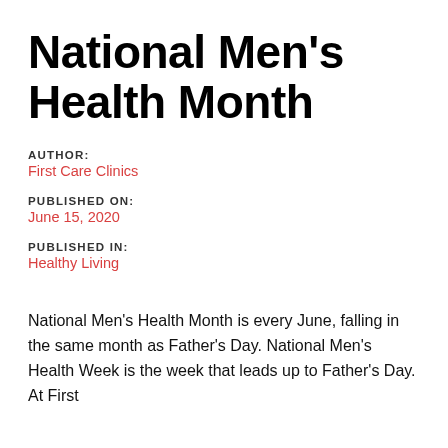National Men's Health Month
AUTHOR:
First Care Clinics
PUBLISHED ON:
June 15, 2020
PUBLISHED IN:
Healthy Living
National Men's Health Month is every June, falling in the same month as Father's Day. National Men's Health Week is the week that leads up to Father's Day. At First